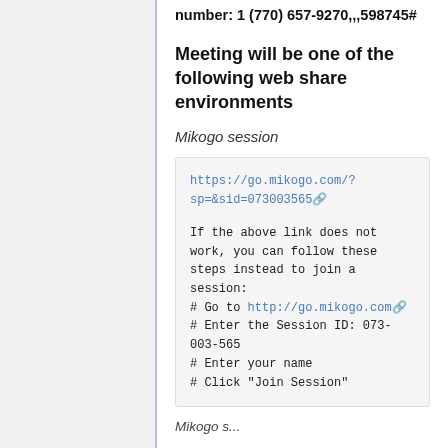number: 1 (770) 657-9270,,,598745#
Meeting will be one of the following web share environments
Mikogo session
https://go.mikogo.com/?sp=&sid=073003565
If the above link does not work, you can follow these steps instead to join a session:
# Go to http://go.mikogo.com
# Enter the Session ID: 073-003-565
# Enter your name
# Click "Join Session"
Mikogo s...